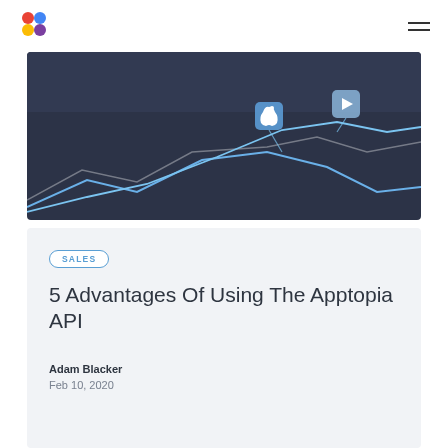Apptopia logo and navigation menu
[Figure (illustration): Dark navy background hero image with stylized line chart showing upward trends, blue icon pins marking Apple App Store and Google Play Store data points on the chart lines]
SALES
5 Advantages Of Using The Apptopia API
Adam Blacker
Feb 10, 2020